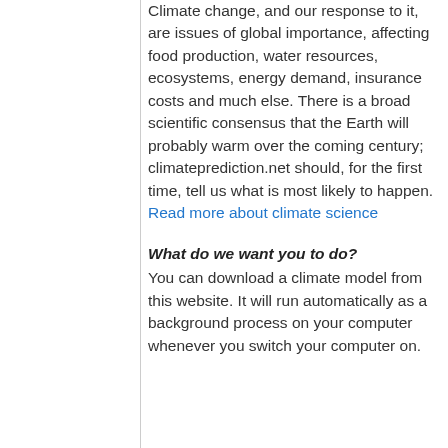Climate change, and our response to it, are issues of global importance, affecting food production, water resources, ecosystems, energy demand, insurance costs and much else. There is a broad scientific consensus that the Earth will probably warm over the coming century; climateprediction.net should, for the first time, tell us what is most likely to happen. Read more about climate science
What do we want you to do?
You can download a climate model from this website. It will run automatically as a background process on your computer whenever you switch your computer on.